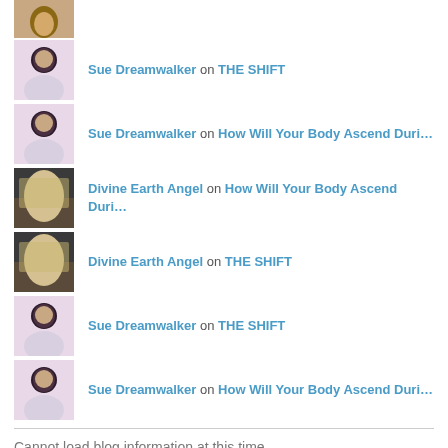[Figure (photo): Partial avatar at top, cropped]
Sue Dreamwalker on THE SHIFT
Sue Dreamwalker on How Will Your Body Ascend Duri…
Divine Earth Angel on How Will Your Body Ascend Duri…
Divine Earth Angel on THE SHIFT
Sue Dreamwalker on THE SHIFT
Sue Dreamwalker on How Will Your Body Ascend Duri…
Cannot load blog information at this time.